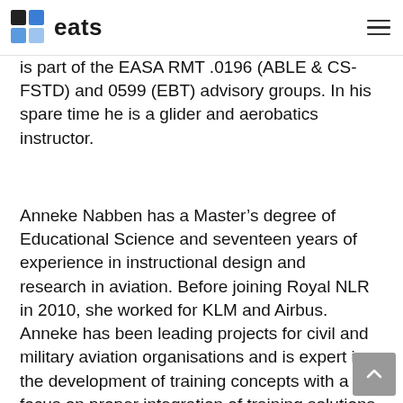eats
is part of the EASA RMT .0196 (ABLE & CS-FSTD) and 0599 (EBT) advisory groups. In his spare time he is a glider and aerobatics instructor.
Anneke Nabben has a Master’s degree of Educational Science and seventeen years of experience in instructional design and research in aviation. Before joining Royal NLR in 2010, she worked for KLM and Airbus. Anneke has been leading projects for civil and military aviation organisations and is expert in the development of training concepts with a focus on proper integration of training solutions within the training